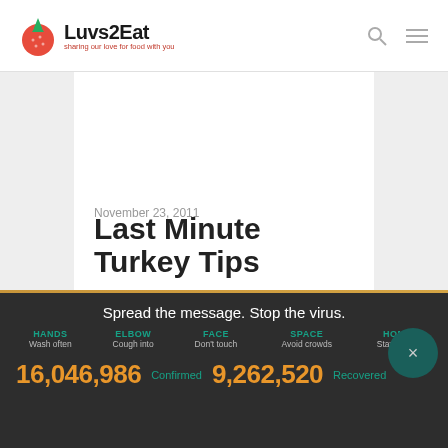Luvs2Eat — sharing our love for food with you
November 23, 2011
Last Minute Turkey Tips
Spread the message. Stop the virus.
HANDS — Wash often
ELBOW — Cough into
FACE — Don't touch
SPACE — Avoid crowds
HOME — Stay inside
16,046,986 Confirmed   9,262,520 Recovered